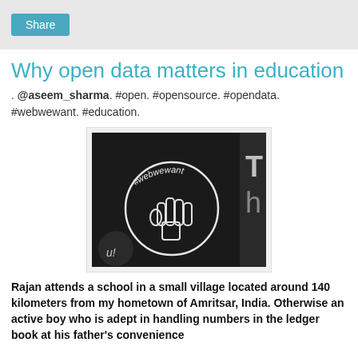Share
Why open data matters in education
. @aseem_sharma. #open. #opensource. #opendata. #webwewant. #education.
[Figure (photo): A chalk drawing on a blackboard showing a raised fist inside a circle with '#webwewant' written above it, and partial text 'Th' visible on the right side.]
Rajan attends a school in a small village located around 140 kilometers from my hometown of Amritsar, India. Otherwise an active boy who is adept in handling numbers in the ledger book at his father's convenience store, he had been enrolled in first class, falling into the